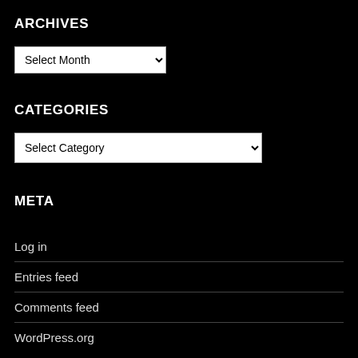ARCHIVES
Select Month (dropdown)
CATEGORIES
Select Category (dropdown)
META
Log in
Entries feed
Comments feed
WordPress.org